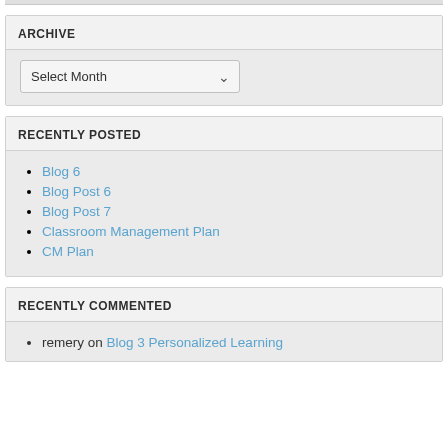ARCHIVE
Select Month (dropdown)
RECENTLY POSTED
Blog 6
Blog Post 6
Blog Post 7
Classroom Management Plan
CM Plan
RECENTLY COMMENTED
remery on Blog 3 Personalized Learning